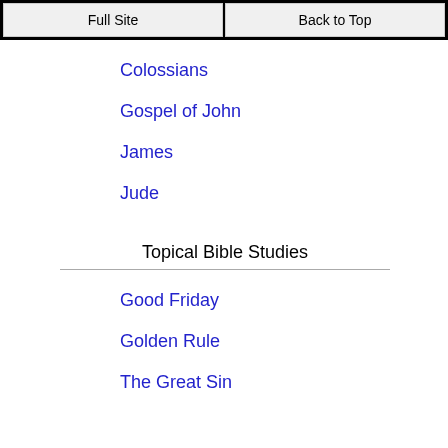Full Site | Back to Top
Colossians
Gospel of John
James
Jude
Topical Bible Studies
Good Friday
Golden Rule
The Great Sin